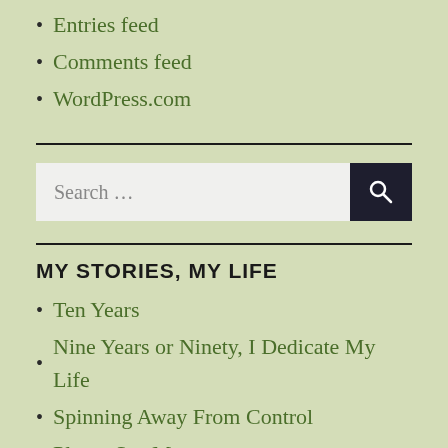Entries feed
Comments feed
WordPress.com
Search ...
MY STORIES, MY LIFE
Ten Years
Nine Years or Ninety, I Dedicate My Life
Spinning Away From Control
Please See Me